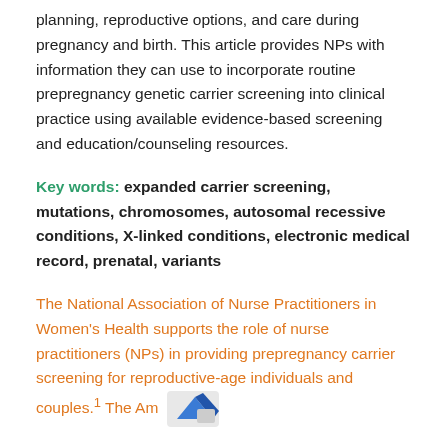planning, reproductive options, and care during pregnancy and birth. This article provides NPs with information they can use to incorporate routine prepregnancy genetic carrier screening into clinical practice using available evidence-based screening and education/counseling resources.
Key words: expanded carrier screening, mutations, chromosomes, autosomal recessive conditions, X-linked conditions, electronic medical record, prenatal, variants
The National Association of Nurse Practitioners in Women's Health supports the role of nurse practitioners (NPs) in providing prepregnancy carrier screening for reproductive-age individuals and couples.1 The Am